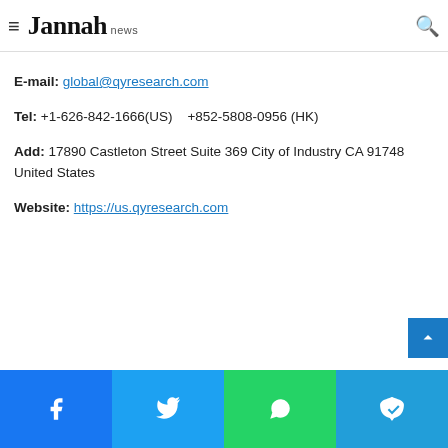Jannah news
Contact Us
QY Research
E-mail: global@qyresearch.com
Tel: +1-626-842-1666(US)   +852-5808-0956 (HK)
Add: 17890 Castleton Street Suite 369 City of Industry CA 91748 United States
Website: https://us.qyresearch.com
Facebook | Twitter | WhatsApp | Telegram